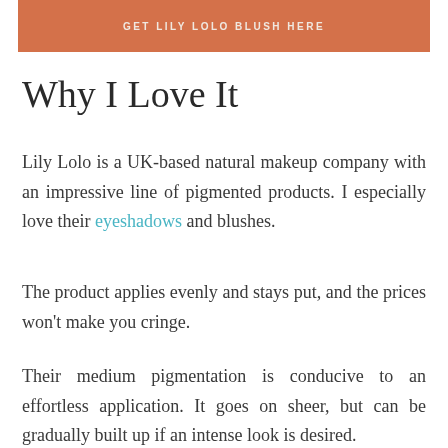[Figure (other): Orange/terracotta banner button with text 'GET LILY LOLO BLUSH HERE' in light colored uppercase letters]
Why I Love It
Lily Lolo is a UK-based natural makeup company with an impressive line of pigmented products. I especially love their eyeshadows and blushes.
The product applies evenly and stays put, and the prices won't make you cringe.
Their medium pigmentation is conducive to an effortless application. It goes on sheer, but can be gradually built up if an intense look is desired.